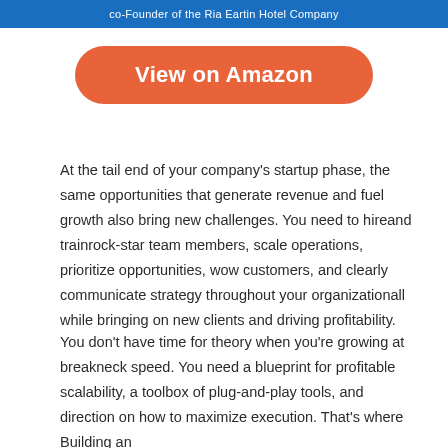[Figure (other): Blue banner at top with white text, partial text visible: co-founder of the Ria Eartin Hotel Company]
View on Amazon
At the tail end of your company's startup phase, the same opportunities that generate revenue and fuel growth also bring new challenges. You need to hireand trainrock-star team members, scale operations, prioritize opportunities, wow customers, and clearly communicate strategy throughout your organizationall while bringing on new clients and driving profitability.
You don't have time for theory when you're growing at breakneck speed. You need a blueprint for profitable scalability, a toolbox of plug-and-play tools, and direction on how to maximize execution. That's where Building an